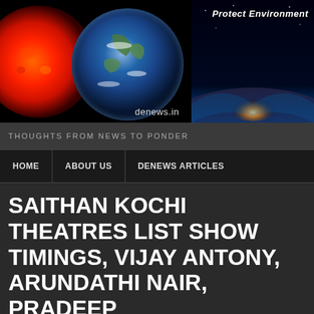[Figure (illustration): Website banner showing sun (red/orange), Earth (blue/green), moon (grey), and space horizon with light glow. Text overlay: 'Protect Environment' and 'denews.in']
THOUGHTS FROM NEWS TO PONDER
HOME
ABOUT US
DENEWS ARTICLES
SAITHAN KOCHI THEATRES LIST SHOW TIMINGS, VIJAY ANTONY, ARUNDATHI NAIR, PRADEEP KRISHNAMOORTHY